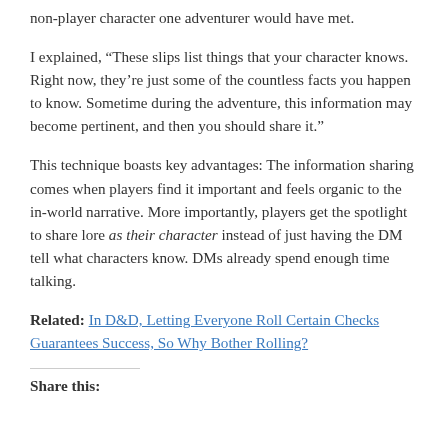non-player character one adventurer would have met.
I explained, “These slips list things that your character knows. Right now, they’re just some of the countless facts you happen to know. Sometime during the adventure, this information may become pertinent, and then you should share it.”
This technique boasts key advantages: The information sharing comes when players find it important and feels organic to the in-world narrative. More importantly, players get the spotlight to share lore as their character instead of just having the DM tell what characters know. DMs already spend enough time talking.
Related: In D&D, Letting Everyone Roll Certain Checks Guarantees Success, So Why Bother Rolling?
Share this: